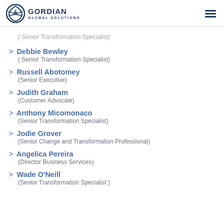Gordian Global Solutions
> (Senior Transformation Specialist)
> Debbie Bewley
( Senior Transformation Specialist)
> Russell Abotomey
(Senior Executive)
> Judith Graham
(Customer Advocate)
> Anthony Micomonaco
(Senior Transformation Specialist)
> Jodie Grover
(Senior Change and Transformation Professional)
> Angelica Pereira
(Director Business Services)
> Wade O'Neill
(Senior Transformation Specialist )